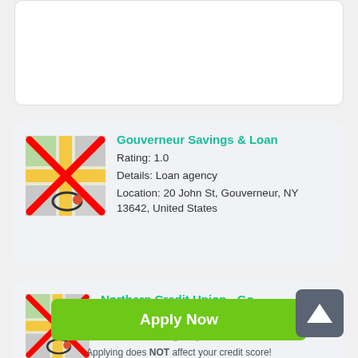[Figure (screenshot): Top white card area (partially visible, cropped)]
Gouverneur Savings & Loan
Rating: 1.0
Details: Loan agency
Location: 20 John St, Gouverneur, NY 13642, United States
Northern Credit Union - Gouverneur Bran...
Rating: 5.0
Details: Loan agency
[Figure (other): Scroll-up button with upward arrow icon]
Apply Now
Applying does NOT affect your credit score!
No credit check to apply.